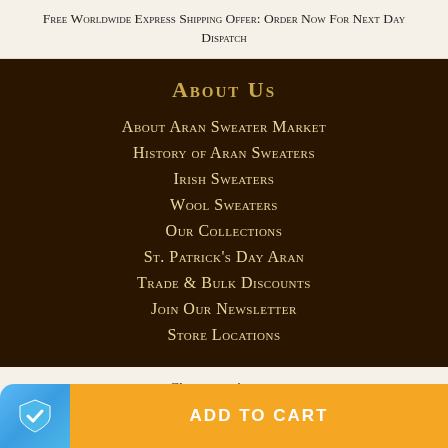Free Worldwide Express Shipping Offer: Order Now For Next Day Dispatch
About Us
About Aran Sweater Market
History of Aran Sweaters
Irish Sweaters
Wool Sweaters
Our Collections
St. Patrick's Day Aran
Trade & Bulk Discounts
Join Our Newsletter
Store Locations
Choose options ∨
ADD TO CART